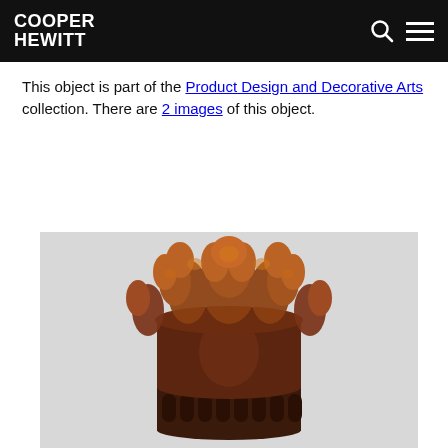COOPER HEWITT
This object is part of the Product Design and Decorative Arts collection. There are 2 images of this object.
[Figure (photo): Photo of an ornately carved decorative crown or basket form with intricate floral and leaf motifs in dark amber/tortoiseshell material, photographed against a light gray background.]